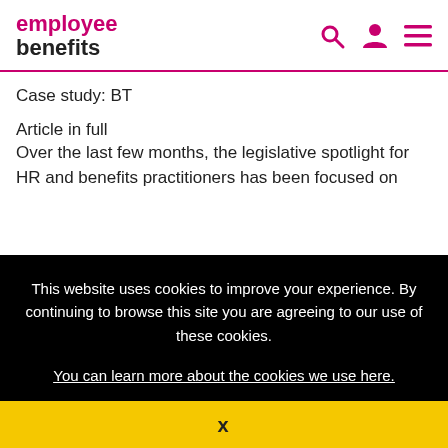employee benefits
Case study: BT
Article in full
Over the last few months, the legislative spotlight for HR and benefits practitioners has been focused on
[Figure (other): Cookie consent overlay on black background with text: This website uses cookies to improve your experience. By continuing to browse this site you are agreeing to our use of these cookies. You can learn more about the cookies we use here. Yellow dismiss bar with X.]